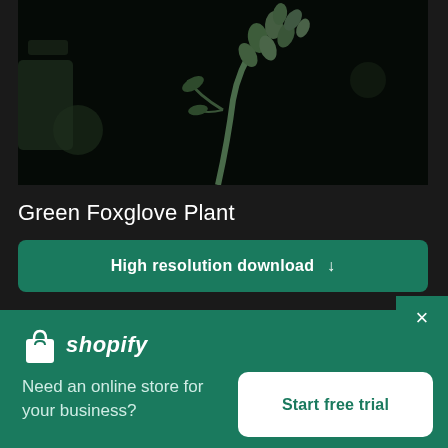[Figure (photo): Dark background photo of green foxglove plant buds/flowers on black background]
Green Foxglove Plant
High resolution download ↓
×
[Figure (logo): Shopify logo with shopping bag icon and italic shopify text in white on green background]
Need an online store for your business?
Start free trial